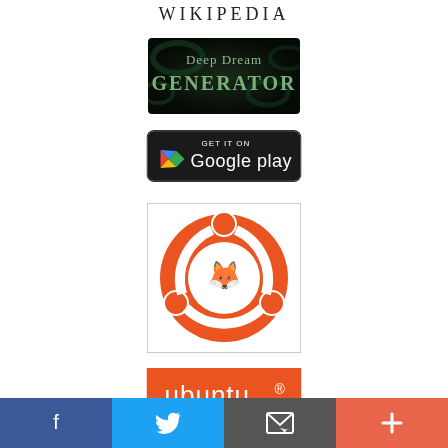WIKIPEDIA
[Figure (logo): Deep Dream Generator logo — dark background with glowing text reading 'Deep Dream GENERATOR']
[Figure (logo): Get it on Google Play badge — black rounded rectangle with Google Play logo and text]
[Figure (logo): Ubuntu circle of friends logo — orange circle with white animal silhouette on white background]
[Figure (logo): Ubuntu wordmark — white 'ubuntu' text with registered symbol on orange background]
[Figure (infographic): Social media share bar with Facebook (blue), Twitter (light blue), Email (grey), and plus/share (coral-red) buttons]